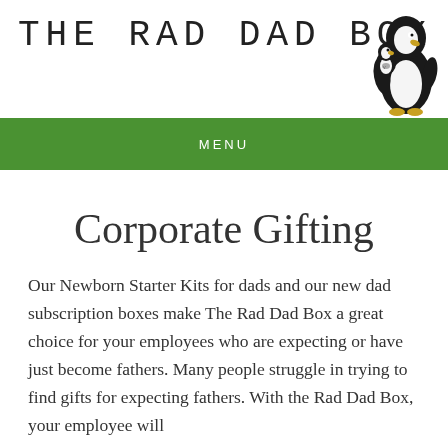THE RAD DAD BOX
[Figure (illustration): Penguin illustration showing a large adult penguin and small baby penguin, black and white cartoon style]
MENU
Corporate Gifting
Our Newborn Starter Kits for dads and our new dad subscription boxes make The Rad Dad Box a great choice for your employees who are expecting or have just become fathers. Many people struggle in trying to find gifts for expecting fathers. With the Rad Dad Box, your employee will